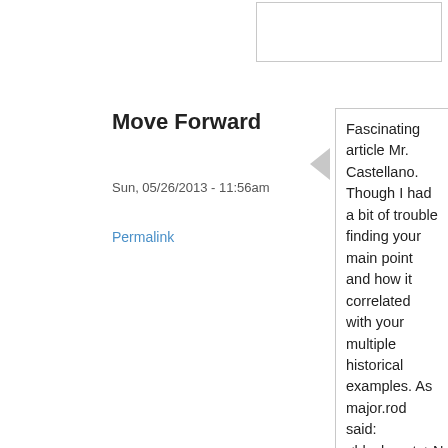Move Forward
Sun, 05/26/2013 - 11:56am
Permalink
Fascinating article Mr. Castellano. Though I had a bit of trouble finding your main point and how it correlated with your multiple historical examples. As major.rod said: <blockquote>Not seeing the logic for a new round to engage at longer ranges if we aren't training to hit at longer ranges now. Seems we might be pleasantly surprised by what our weapons do now.</blockquote>
Like you, initially thought Castellano advocated longer range fires indicative of the Battle of Omdurman. Thishistor...